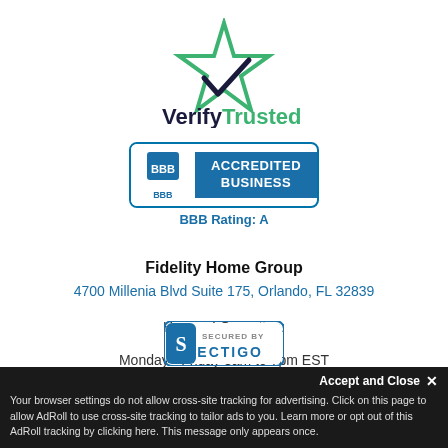[Figure (logo): VerifyTrusted logo with green star and dark blue checkmark, text 'VerifyTrusted' in dark blue and teal]
[Figure (logo): BBB Accredited Business badge with blue background and 'BBB Rating: A' text below]
Fidelity Home Group
4700 Millenia Blvd Suite 175, Orlando, FL 32839
Hours of Operation:
Monday - Friday 8am to 7pm EST
Saturday - Sunday 10am to 6 pm EST
[Figure (logo): Sectigo Secured badge partially visible at bottom]
Accept and Close ✕
Your browser settings do not allow cross-site tracking for advertising. Click on this page to allow AdRoll to use cross-site tracking to tailor ads to you. Learn more or opt out of this AdRoll tracking by clicking here. This message only appears once.